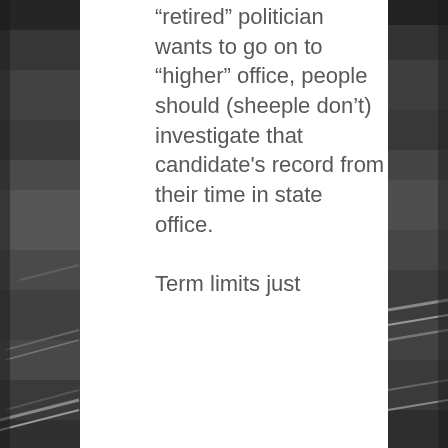[Figure (photo): Black and white aerial photograph of a city with bridges and highway overpass, visible on left and right strips of the page behind white center panel]
“retired” politician wants to go on to “higher” office, people should (sheeple don’t) investigate that candidate's record from their time in state office.

Term limits just